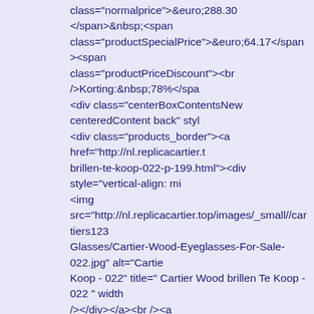class="normalprice">&euro;288.30 </span>&nbsp;<span class="productSpecialPrice">&euro;64.17</span><span class="productPriceDiscount"><br />Korting:&nbsp;78%</span> <div class="centerBoxContentsNew centeredContent back" styl <div class="products_border"><a href="http://nl.replicacartier.t brillen-te-koop-022-p-199.html"><div style="vertical-align: mi <img src="http://nl.replicacartier.top/images/_small//cartiers123 Glasses/Cartier-Wood-Eyeglasses-For-Sale-022.jpg" alt="Cartie Koop - 022" title=" Cartier Wood brillen Te Koop - 022 " width /></div></a><br /><a href="http://nl.replicacartier.top/cartier-w 022-p-199.html">Cartier Wood brillen Te Koop - 022</a><br /> class="normalprice">&euro;239.94 </span>&nbsp;<span class="productSpecialPrice">&euro;80.91</span><span class="productPriceDiscount"><br />Korting:&nbsp;66%</span> <div class="centerBoxContentsNew centeredContent back" styl <div class="products_border"><a href="http://nl.replicacartier.t brillen-te-koop-023-p-1226.html"><div style="vertical-align: middle;height:113px"><img src="http://nl.replicacartier.top/images/_small//cartiers123_/Car Glasses/Cartier-Wood-Eyeglasses-For-Sale-023.jpg" alt="Cartie Koop - 023" title=" Cartier Wood brillen Te Koop - 023 " width /></div></a><br /><a href="http://nl.replicacartier.top/cartier-w 023-p-1226.html">Cartier Wood brillen Te Koop - 023</a><br> class="normalprice">&euro;278.07 </span>&nbsp;<span class="productSpecialPrice">&euro;78.12</span><span class="productPriceDiscount"><br